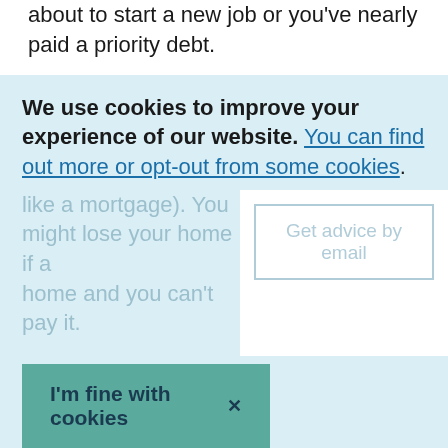about to start a new job or you've nearly paid a priority debt.
If you'll only be able to afford the minimum payment in the long term, find out if you can get a different deal so you pay less interest.
You might be able to:
move the debt to another card that charges less interest - called a 'balance transfer'
get a loan that charges less interest than your credit card
We use cookies to improve your experience of our website. You can find out more or opt-out from some cookies.
I'm fine with cookies ×